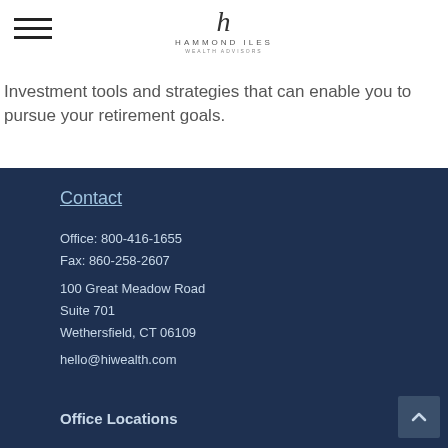[Figure (logo): Hammond Iles Wealth Advisors logo with script 'h' above the text HAMMOND ILES and smaller text WEALTH ADVISORS]
Investment tools and strategies that can enable you to pursue your retirement goals.
Contact
Office: 800-416-1655
Fax: 860-258-2607
100 Great Meadow Road
Suite 701
Wethersfield, CT 06109
hello@hiwealth.com
Office Locations